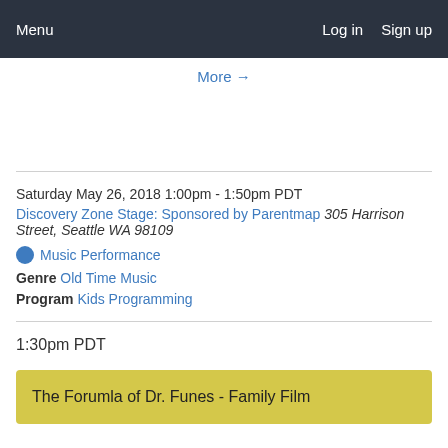Menu  Log in  Sign up
More →
Saturday May 26, 2018 1:00pm - 1:50pm PDT
Discovery Zone Stage: Sponsored by Parentmap 305 Harrison Street, Seattle WA 98109
Music Performance
Genre Old Time Music
Program Kids Programming
1:30pm PDT
The Forumla of Dr. Funes - Family Film